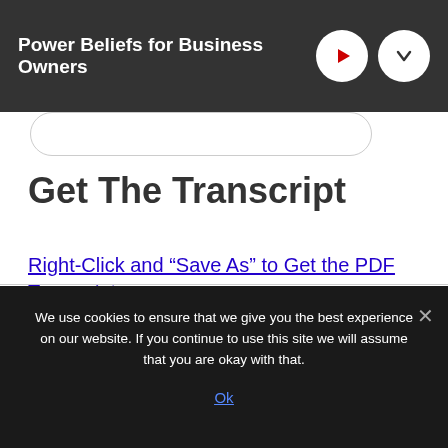Power Beliefs for Business Owners
[Figure (screenshot): Partial search bar visible at top of content area]
Get The Transcript
Right-Click and “Save As” to Get the PDF Transcript.
We use cookies to ensure that we give you the best experience on our website. If you continue to use this site we will assume that you are okay with that.
Ok